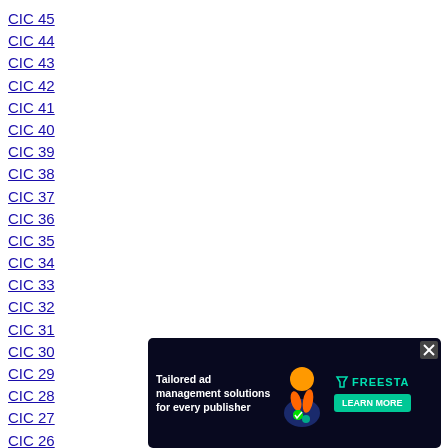CIC 45
CIC 44
CIC 43
CIC 42
CIC 41
CIC 40
CIC 39
CIC 38
CIC 37
CIC 36
CIC 35
CIC 34
CIC 33
CIC 32
CIC 31
CIC 30
CIC 29
CIC 28
CIC 27
CIC 26
CIC 25
CIC 24
CIC 23
CIC 22
CIC 21
CIC 20
CIC 19
CIC 18
[Figure (screenshot): Advertisement banner for Freesta ad management solutions with dark background and illustrated character]